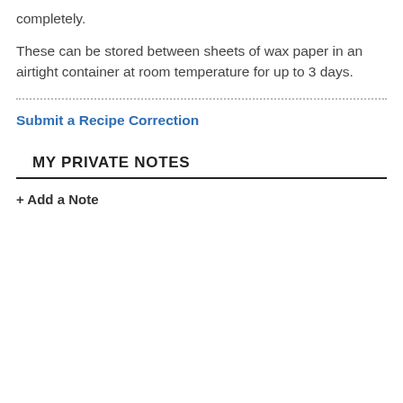completely.
These can be stored between sheets of wax paper in an airtight container at room temperature for up to 3 days.
Submit a Recipe Correction
MY PRIVATE NOTES
+ Add a Note